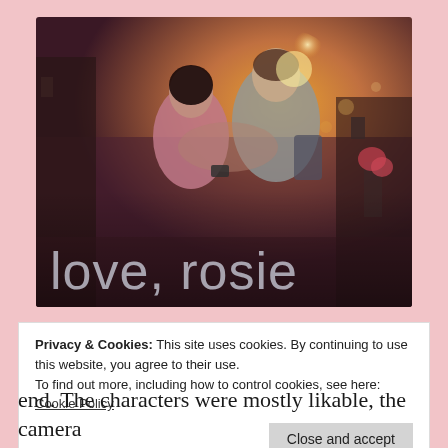[Figure (photo): Movie poster / promotional image for 'Love, Rosie' showing a young couple on a city street, the woman leaning on the man's shoulder while they look at something together. Warm golden bokeh lighting in the background. Large text overlay reads 'love, rosie' in light gray lowercase letters.]
Privacy & Cookies: This site uses cookies. By continuing to use this website, you agree to their use.
To find out more, including how to control cookies, see here: Cookie Policy
Close and accept
end. The characters were mostly likable, the camera